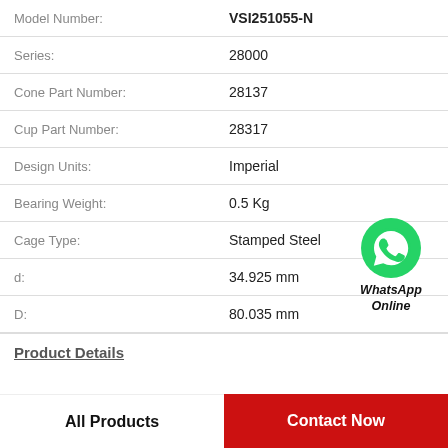| Field | Value |
| --- | --- |
| Model Number: | VSI251055-N |
| Series: | 28000 |
| Cone Part Number: | 28137 |
| Cup Part Number: | 28317 |
| Design Units: | Imperial |
| Bearing Weight: | 0.5 Kg |
| Cage Type: | Stamped Steel |
| d: | 34.925 mm |
| D: | 80.035 mm |
[Figure (logo): WhatsApp Online green circle icon with phone handset, labeled WhatsApp Online]
Product Details
All Products
Contact Now